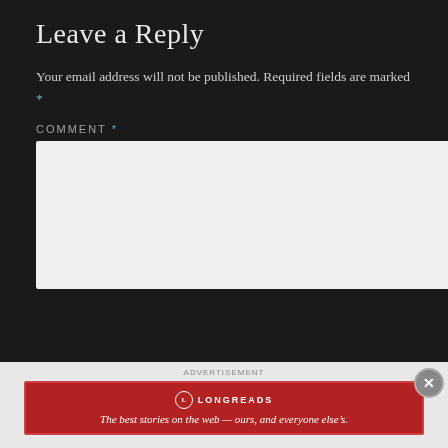Leave a Reply
Your email address will not be published. Required fields are marked *
COMMENT *
[Figure (other): Empty comment text area input box with light gray background]
ADVERTISEMENT
[Figure (logo): Longreads banner ad in dark red with logo and tagline: The best stories on the web — ours, and everyone else's.]